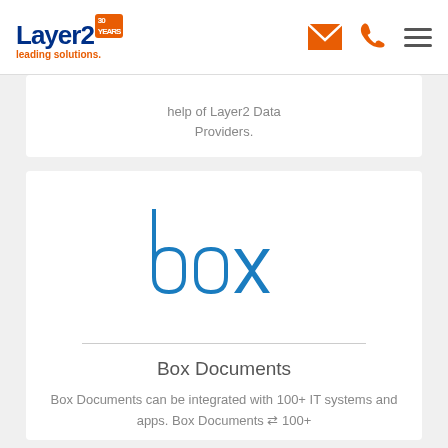Layer2 leading solutions. [logo with 30 YEARS badge] [envelope icon] [phone icon] [menu icon]
help of Layer2 Data Providers.
[Figure (logo): Box logo in blue, stylized lowercase 'box' text]
Box Documents
Box Documents can be integrated with 100+ IT systems and apps. Box Documents ⇄ 100+